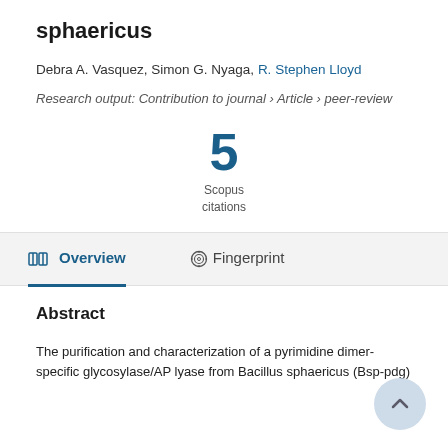sphaericus
Debra A. Vasquez, Simon G. Nyaga, R. Stephen Lloyd
Research output: Contribution to journal › Article › peer-review
5 Scopus citations
Overview   Fingerprint
Abstract
The purification and characterization of a pyrimidine dimer-specific glycosylase/AP lyase from Bacillus sphaericus (Bsp-pdg)